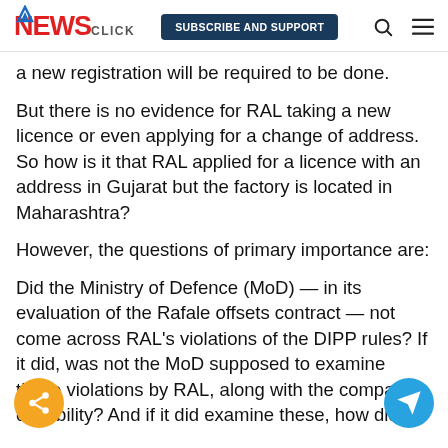NEWSCLICK | SUBSCRIBE AND SUPPORT
a new registration will be required to be done.
But there is no evidence for RAL taking a new licence or even applying for a change of address. So how is it that RAL applied for a licence with an address in Gujarat but the factory is located in Maharashtra?
However, the questions of primary importance are:
Did the Ministry of Defence (MoD) — in its evaluation of the Rafale offsets contract — not come across RAL's violations of the DIPP rules? If it did, was not the MoD supposed to examine these violations by RAL, along with the company's capability? And if it did examine these, how did